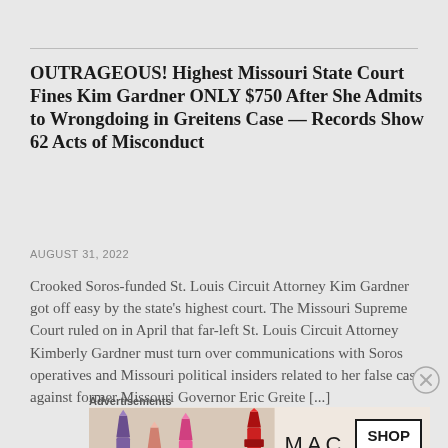OUTRAGEOUS! Highest Missouri State Court Fines Kim Gardner ONLY $750 After She Admits to Wrongdoing in Greitens Case — Records Show 62 Acts of Misconduct
AUGUST 31, 2022
Crooked Soros-funded St. Louis Circuit Attorney Kim Gardner got off easy by the state's highest court. The Missouri Supreme Court ruled on in April that far-left St. Louis Circuit Attorney Kimberly Gardner must turn over communications with Soros operatives and Missouri political insiders related to her false case against former Missouri Governor Eric Greite [...]
[Figure (other): Advertisement banner for MAC cosmetics showing lipsticks in purple, pink, and red, MAC logo text, and a SHOP NOW button]